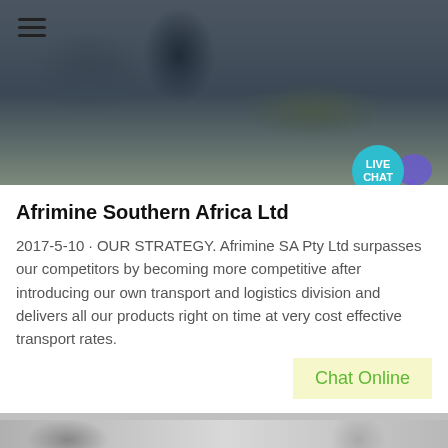[Figure (photo): Industrial machinery/mining equipment photo with dark background, scaffolding and pipes visible. Hamburger menu icon in top left. Live Chat bubble in bottom right corner.]
Afrimine Southern Africa Ltd
2017-5-10 · OUR STRATEGY. Afrimine SA Pty Ltd surpasses our competitors by becoming more competitive after introducing our own transport and logistics division and delivers all our products right on time at very cost effective transport rates.
Chat Online
[Figure (photo): Partial view of a second industrial/mining image strip in grayscale]
Get a Quote
WhatsApp